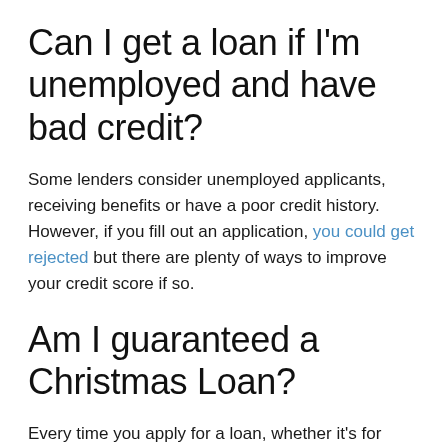Can I get a loan if I'm unemployed and have bad credit?
Some lenders consider unemployed applicants, receiving benefits or have a poor credit history. However, if you fill out an application, you could get rejected but there are plenty of ways to improve your credit score if so.
Am I guaranteed a Christmas Loan?
Every time you apply for a loan, whether it's for Christmas or not, you will be subject to a variety of checks. This will involve identity and credit checks. The final decision on whether you are approved for a loan lies solely with the lender.